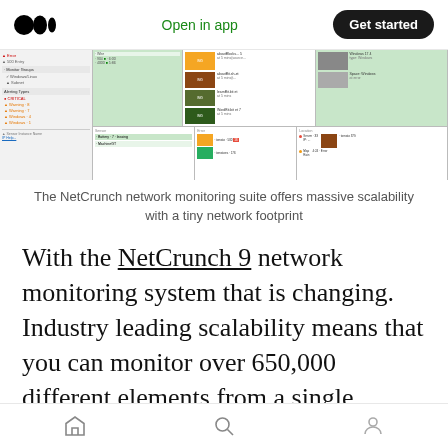Open in app | Get started
[Figure (screenshot): Screenshot of NetCrunch network monitoring dashboard showing network status panels with green, orange, and red status indicators across multiple columns]
The NetCrunch network monitoring suite offers massive scalability with a tiny network footprint
With the NetCrunch 9 network monitoring system that is changing. Industry leading scalability means that you can monitor over 650,000 different elements from a single installation. Compared with the low tens of thousands available from the competition,
Home | Search | Profile